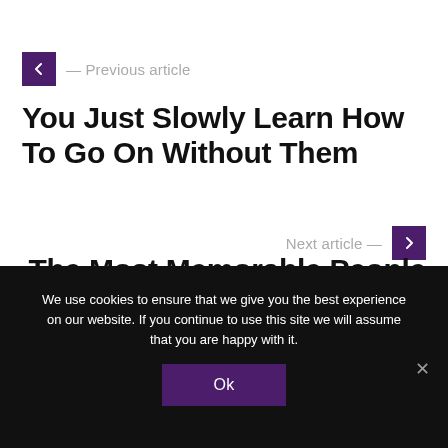← Previous article
You Just Slowly Learn How To Go On Without Them
Next article →
The Most Memorable People In You Life
We use cookies to ensure that we give you the best experience on our website. If you continue to use this site we will assume that you are happy with it.
Ok